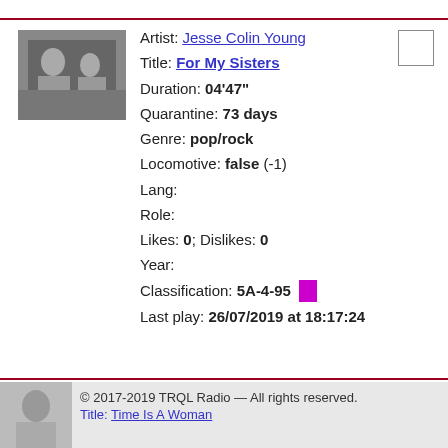[Figure (photo): Black and white thumbnail photo of artist Jesse Colin Young]
Artist: Jesse Colin Young
Title: For My Sisters
Duration: 04'47"
Quarantine: 73 days
Genre: pop/rock
Locomotive: false (-1)
Lang:
Role:
Likes: 0; Dislikes: 0
Year:
Classification: 5A-4-95
Last play: 26/07/2019 at 18:17:24
© 2017-2019 TRQL Radio — All rights reserved.
Title: Time Is A Woman